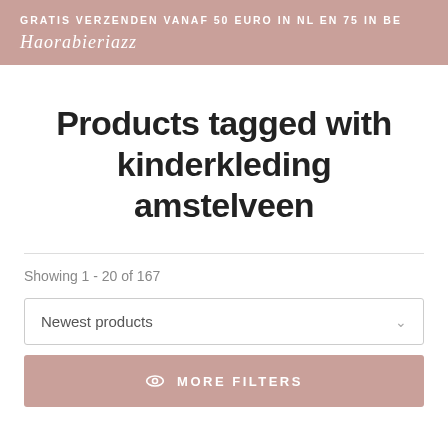GRATIS VERZENDEN VANAF 50 EURO IN NL EN 75 IN BE
Haorabieriazz
Products tagged with kinderkleding amstelveen
Showing 1 - 20 of 167
Newest products
MORE FILTERS